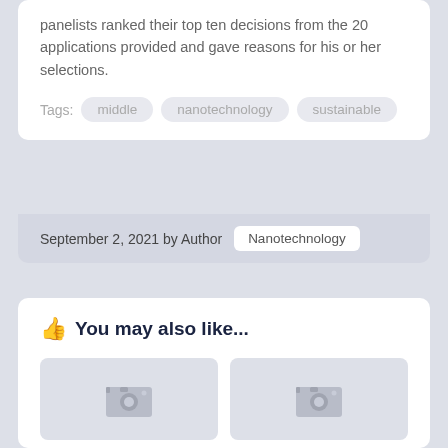panelists ranked their top ten decisions from the 20 applications provided and gave reasons for his or her selections.
Tags: middle  nanotechnology  sustainable
September 2, 2021 by Author  Nanotechnology
You may also like...
[Figure (photo): Placeholder image thumbnail for Renewable Power article]
[Figure (photo): Placeholder image thumbnail for Institute Of article]
Renewable Power
Institute Of